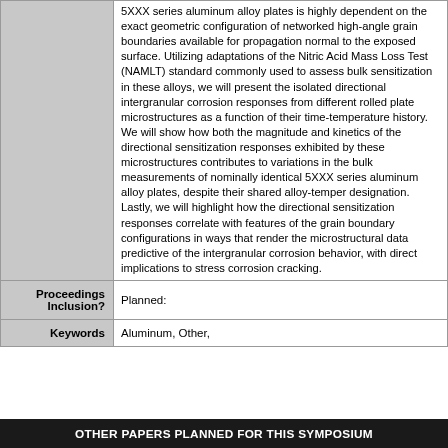| Field | Content |
| --- | --- |
|  | 5XXX series aluminum alloy plates is highly dependent on the exact geometric configuration of networked high-angle grain boundaries available for propagation normal to the exposed surface. Utilizing adaptations of the Nitric Acid Mass Loss Test (NAMLT) standard commonly used to assess bulk sensitization in these alloys, we will present the isolated directional intergranular corrosion responses from different rolled plate microstructures as a function of their time-temperature history. We will show how both the magnitude and kinetics of the directional sensitization responses exhibited by these microstructures contributes to variations in the bulk measurements of nominally identical 5XXX series aluminum alloy plates, despite their shared alloy-temper designation. Lastly, we will highlight how the directional sensitization responses correlate with features of the grain boundary configurations in ways that render the microstructural data predictive of the intergranular corrosion behavior, with direct implications to stress corrosion cracking. |
| Proceedings Inclusion? | Planned: |
| Keywords | Aluminum, Other, |
OTHER PAPERS PLANNED FOR THIS SYMPOSIUM